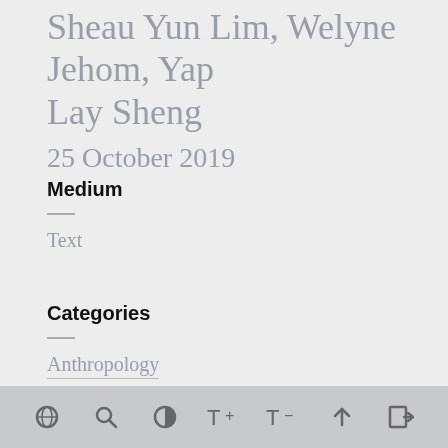Sheau Yun Lim, Welyne Jehom, Yap Lay Sheng
25 October 2019
Medium
Text
Categories
Anthropology
[toolbar icons: O, search, contrast, T+, T-, up arrow, exit]